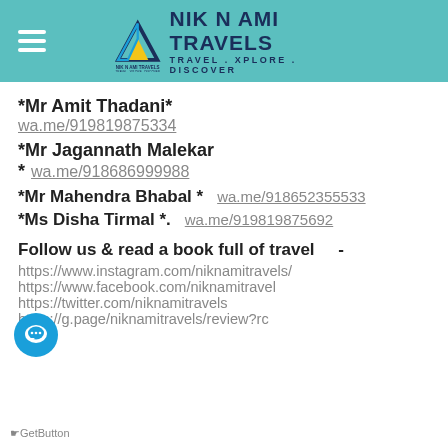NIK N AMI TRAVELS — TRAVEL . XPLORE . DISCOVER
*Mr Amit Thadani*
wa.me/919819875334
*Mr Jagannath Malekar
* wa.me/918686999988
*Mr Mahendra Bhabal *   wa.me/918652355533
*Ms Disha Tirmal *.     wa.me/919819875692
Follow us & read a book full of travel -
https://www.instagram.com/niknamitravels/
https://www.facebook.com/niknamitravel
https://twitter.com/niknamitravels
https://g.page/niknamitravels/review?rc
GetButton